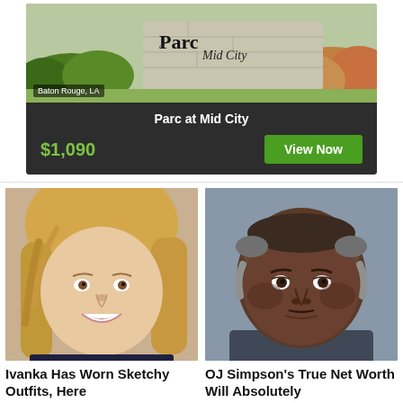[Figure (photo): Advertisement for Parc at Mid City apartment complex showing property sign with 'Baton Rouge, LA' label, price $1,090 and View Now button]
[Figure (photo): Portrait photo of blonde woman (Ivanka) smiling at camera]
Ivanka Has Worn Sketchy Outfits, Here
[Figure (photo): Mugshot-style portrait photo of OJ Simpson]
OJ Simpson's True Net Worth Will Absolutely